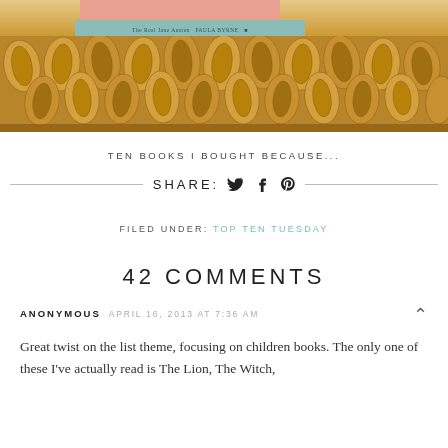[Figure (photo): Photo of books resting on an ornate carved wooden object with gilded leaf/feather texture. A teal book spine reads 'The Real Jane Austen PAULA BYRNE' and a salmon-colored book spine is partially visible above it.]
TEN BOOKS I BOUGHT BECAUSE...
SHARE: [twitter] [facebook] [pinterest]
FILED UNDER: TOP TEN TUESDAY
42 COMMENTS
ANONYMOUS APRIL 16, 2013 AT 7:36 AM
Great twist on the list theme, focusing on children books. The only one of these I've actually read is The Lion, The Witch,